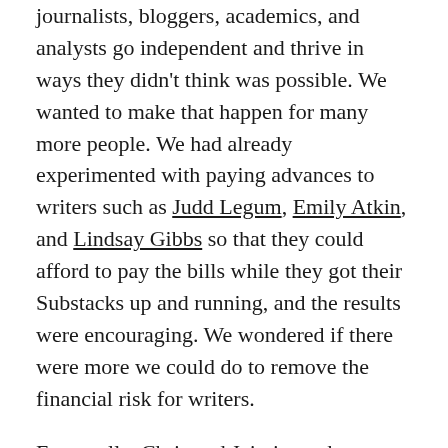journalists, bloggers, academics, and analysts go independent and thrive in ways they didn't think was possible. We wanted to make that happen for many more people. We had already experimented with paying advances to writers such as Judd Legum, Emily Atkin, and Lindsay Gibbs so that they could afford to pay the bills while they got their Substacks up and running, and the results were encouraging. We wondered if there were more we could do to remove the financial risk for writers.
Eventually, Chris and Jairaj struck upon a formula that could appeal even to writers with big-time jobs. We would offer a substantial minimum guarantee, and in return we'd keep 85 percent of the writer's subscription revenue for the first year. At the end of that time, they'd revert to the standard agreement, keeping 90 percent of the